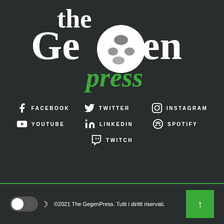[Figure (logo): The GegenPress logo: large serif text 'the', 'Ge', 'en' in white with a white circle containing a soccer ball silhouette as the 'g', and 'press' in bold green italic below]
FACEBOOK
TWITTER
INSTAGRAM
YOUTUBE
LINKEDIN
SPOTIFY
TWITCH
©2021 The GegenPress. Tutti i diritti riservati.